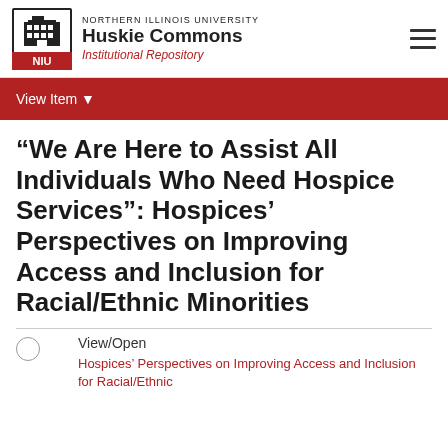NORTHERN ILLINOIS UNIVERSITY Huskie Commons Institutional Repository
View Item
“We Are Here to Assist All Individuals Who Need Hospice Services”: Hospices’ Perspectives on Improving Access and Inclusion for Racial/Ethnic Minorities
View/Open
Hospices’ Perspectives on Improving Access and Inclusion for Racial/Ethnic